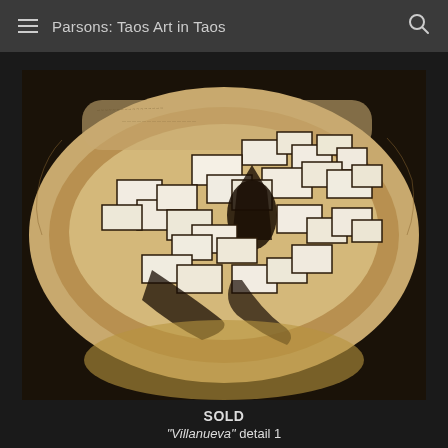Parsons: Taos Art in Taos
[Figure (photo): An aerial or bird's-eye view artwork depicting a densely packed pueblo village (Villanueva), rendered in sepia/brown tones on what appears to be animal hide or skin. The artwork shows clustered adobe-style buildings with strong black outlines against a tan/beige background, surrounded by the organic curved edges of the hide material.]
SOLD
"Villanueva" detail 1